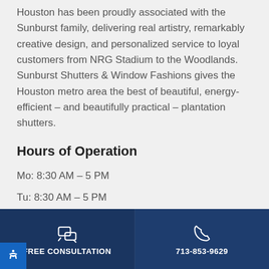Houston has been proudly associated with the Sunburst family, delivering real artistry, remarkably creative design, and personalized service to loyal customers from NRG Stadium to the Woodlands. Sunburst Shutters & Window Fashions gives the Houston metro area the best of beautiful, energy-efficient – and beautifully practical – plantation shutters.
Hours of Operation
Mo: 8:30 AM – 5 PM
Tu: 8:30 AM – 5 PM
We: 8:30 AM – 5 PM
FREE CONSULTATION | 713-853-9629